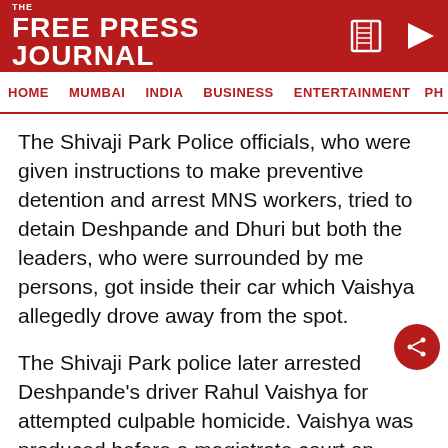THE FREE PRESS JOURNAL
HOME  MUMBAI  INDIA  BUSINESS  ENTERTAINMENT  PHO
The Shivaji Park Police officials, who were given instructions to make preventive detention and arrest MNS workers, tried to detain Deshpande and Dhuri but both the leaders, who were surrounded by media persons, got inside their car which Vaishya allegedly drove away from the spot.
The Shivaji Park police later arrested Deshpande's driver Rahul Vaishya for attempted culpable homicide. Vaishya was produced before a magistrate court on Friday and remanded to police custody.
ADVERTISEMENT